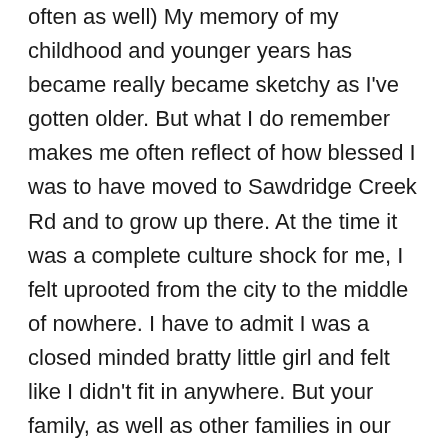often as well) My memory of my childhood and younger years has became really became sketchy as I've gotten older. But what I do remember makes me often reflect of how blessed I was to have moved to Sawdridge Creek Rd and to grow up there. At the time it was a complete culture shock for me, I felt uprooted from the city to the middle of nowhere. I have to admit I was a closed minded bratty little girl and felt like I didn't fit in anywhere. But your family, as well as other families in our little road and in our tiny community of Monterey were always welcoming. I remember your mom watching us (bless her heart, my brother and I probably made her believe all red headed children were all evil brats) the first summer and getting to help your dad out in the greenhouse and learning(seeing much about